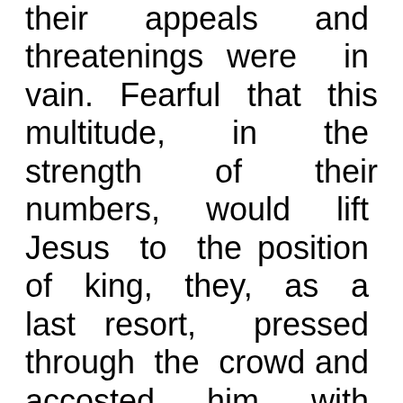their appeals and threatenings were in vain. Fearful that this multitude, in the strength of their numbers, would lift Jesus to the position of king, they, as a last resort, pressed through the crowd and accosted him with reproving and threatening words: "Master, rebuke thy disciples." They declared that such noisy and excited demonstrations were unlawful, and would not be